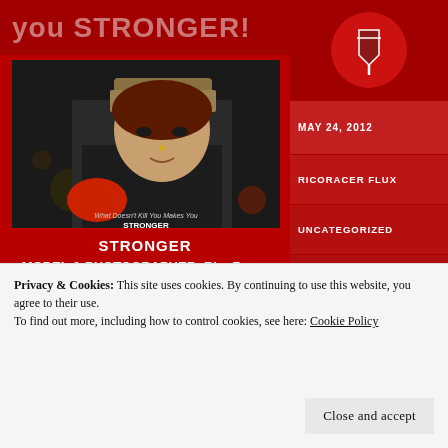you STRONGER!
[Figure (photo): Virtual avatar wearing an Evillast boxing cap with gloves, in a dark bokeh background. Text reads 'What Doesn't Kill You Makes You STRONGER' and 'RICORACER FLUX' vertically on the right side.]
STRONGER
MODEL & PHOTOGRAPHER: RicoRacer Flux
MAY 24, 2012
RICORACER FLUX
UNCATEGORIZED
ACTIVE WEAR, BOXER, BOXING, BOXING GEAR, ELIXIR, EVILLAST, KELLY CLARKSON STRONGER, MALE
Privacy & Cookies: This site uses cookies. By continuing to use this website, you agree to their use.
To find out more, including how to control cookies, see here: Cookie Policy
Close and accept
just want to thank you all for your